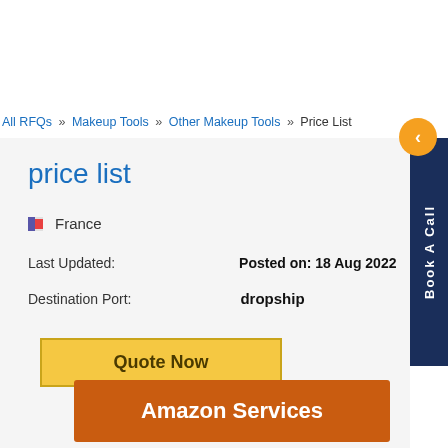All RFQs » Makeup Tools » Other Makeup Tools » Price List
price list
🇫🇷 France
Last Updated:   Posted on: 18 Aug 2022
Destination Port:   dropship
Quote Now
Amazon Services